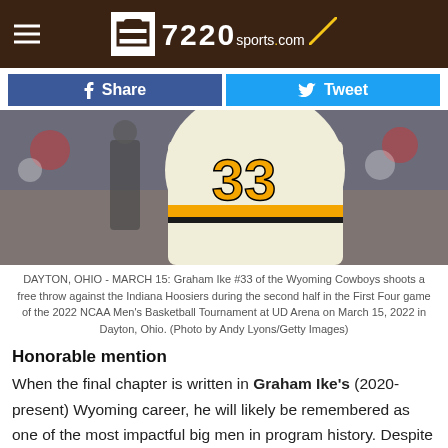7220sports.com
Share | Tweet
[Figure (photo): Basketball player wearing jersey #33 (Wyoming Cowboys) shooting a free throw, with a referee in the background and crowd visible.]
DAYTON, OHIO - MARCH 15: Graham Ike #33 of the Wyoming Cowboys shoots a free throw against the Indiana Hoosiers during the second half in the First Four game of the 2022 NCAA Men's Basketball Tournament at UD Arena on March 15, 2022 in Dayton, Ohio. (Photo by Andy Lyons/Getty Images)
Honorable mention
When the final chapter is written in Graham Ike's (2020-present) Wyoming career, he will likely be remembered as one of the most impactful big men in program history. Despite playing just 45 games, the Colorado native has